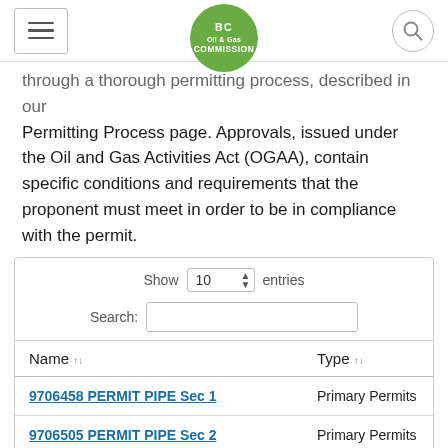BC Oil & Gas Commission
through a thorough permitting process, described in our Permitting Process page. Approvals, issued under the Oil and Gas Activities Act (OGAA), contain specific conditions and requirements that the proponent must meet in order to be in compliance with the permit.
| Name | Type |
| --- | --- |
| 9706458 PERMIT PIPE Sec 1 | Primary Permits |
| 9706505 PERMIT PIPE Sec 2 | Primary Permits |
| 9706583 PERMIT PIPE Sec 3 Amended | Primary Permits |